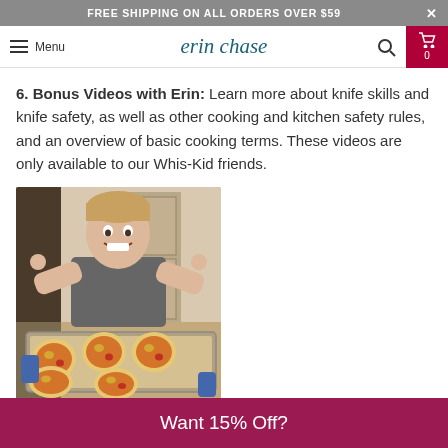FREE SHIPPING ON ALL ORDERS OVER $59
erin chase — Menu / Search / Cart 0
6. Bonus Videos with Erin: Learn more about knife skills and knife safety, as well as other cooking and kitchen safety rules, and an overview of basic cooking terms. These videos are only available to our Whis-Kid friends.
[Figure (photo): A smiling young boy with blond hair giving two thumbs up, standing behind a baking sheet with mini pizzas topped with cheese and pepperoni, in a kitchen setting.]
Want 15% Off?